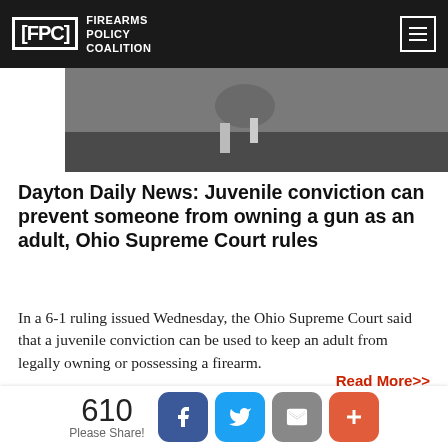FPC FIREARMS POLICY COALITION
[Figure (photo): Close-up photo of hands, partially visible, dark background]
Dayton Daily News: Juvenile conviction can prevent someone from owning a gun as an adult, Ohio Supreme Court rules
In a 6-1 ruling issued Wednesday, the Ohio Supreme Court said that a juvenile conviction can be used to keep an adult from legally owning or possessing a firearm.
Read More>>
[Figure (photo): Two small photos at the bottom of the page, partially visible]
610 Please Share!